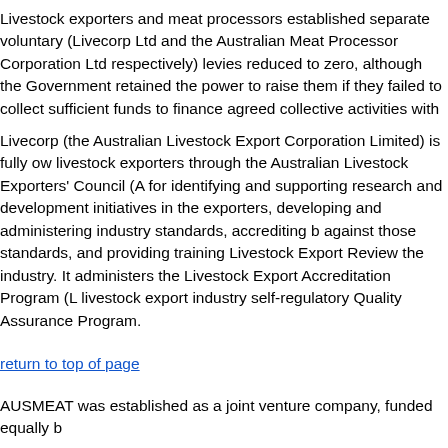Livestock exporters and meat processors established separate voluntary (Livecorp Ltd and the Australian Meat Processor Corporation Ltd respectively) levies reduced to zero, although the Government retained the power to raise them if they failed to collect sufficient funds to finance agreed collective activities with the industry.
Livecorp (the Australian Livestock Export Corporation Limited) is fully owned by livestock exporters through the Australian Livestock Exporters' Council (ALEC). It is responsible for identifying and supporting research and development initiatives in the interest of livestock exporters, developing and administering industry standards, accrediting businesses against those standards, and providing training Livestock Export Review Program for the industry. It administers the Livestock Export Accreditation Program (LEAP) and the livestock export industry self-regulatory Quality Assurance Program.
return to top of page
AUSMEAT was established as a joint venture company, funded equally b